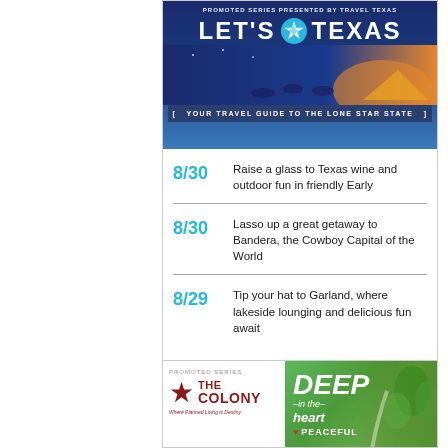[Figure (illustration): Travel Texas 'Let's Texas' promotional banner with logo, people around campfire at sunset, text 'Your Travel Guide to the Lone Star State']
8/30 Raise a glass to Texas wine and outdoor fun in friendly Early
8/30 Lasso up a great getaway to Bandera, the Cowboy Capital of the World
8/29 Tip your hat to Garland, where lakeside lounging and delicious fun await
[Figure (illustration): The Colony promoted series ad with star logo and 'Deep in the Heart Peaceful' green background with trees]